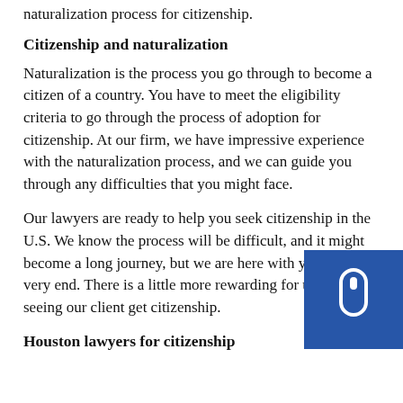naturalization process for citizenship.
Citizenship and naturalization
Naturalization is the process you go through to become a citizen of a country. You have to meet the eligibility criteria to go through the process of adoption for citizenship. At our firm, we have impressive experience with the naturalization process, and we can guide you through any difficulties that you might face.
Our lawyers are ready to help you seek citizenship in the U.S. We know the process will be difficult, and it might become a long journey, but we are here with you until the very end. There is a little more rewarding for us than seeing our client get citizenship.
Houston lawyers for citizenship